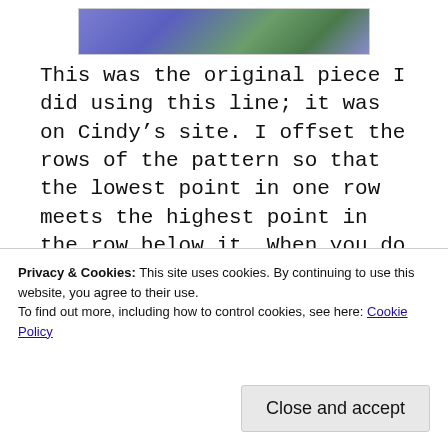[Figure (photo): Partial view of a needlepoint or embroidery piece with blue, purple, and green colors on canvas mesh, cropped at the top of the page.]
This was the original piece I did using this line; it was on Cindy’s site. I offset the rows of the pattern so that the lowest point in one row meets the highest point in the row below it. When you do this, the pattern no longer has lines but shapes. This type of shape is called a clamshell and is fun to fill.
Mi...
Privacy & Cookies: This site uses cookies. By continuing to use this website, you agree to their use.
To find out more, including how to control cookies, see here: Cookie Policy
I started (late Tuesday night) yet another